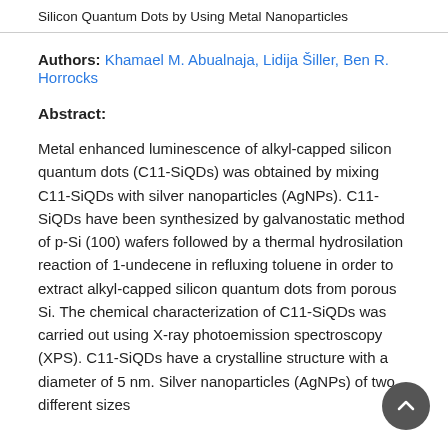Silicon Quantum Dots by Using Metal Nanoparticles
Authors: Khamael M. Abualnaja, Lidija Šiller, Ben R. Horrocks
Abstract:
Metal enhanced luminescence of alkyl-capped silicon quantum dots (C11-SiQDs) was obtained by mixing C11-SiQDs with silver nanoparticles (AgNPs). C11-SiQDs have been synthesized by galvanostatic method of p-Si (100) wafers followed by a thermal hydrosilation reaction of 1-undecene in refluxing toluene in order to extract alkyl-capped silicon quantum dots from porous Si. The chemical characterization of C11-SiQDs was carried out using X-ray photoemission spectroscopy (XPS). C11-SiQDs have a crystalline structure with a diameter of 5 nm. Silver nanoparticles (AgNPs) of two different sizes